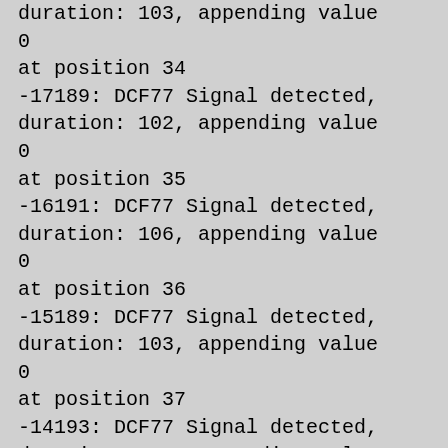duration: 103, appending value 0 at position 34
-17189: DCF77 Signal detected, duration: 102, appending value 0 at position 35
-16191: DCF77 Signal detected, duration: 106, appending value 0 at position 36
-15189: DCF77 Signal detected, duration: 103, appending value 0 at position 37
-14193: DCF77 Signal detected, duration: 110, appending value 0 at position 38
-13193: DCF77 Signal detected, duration: 210, appending value 1 at position 39